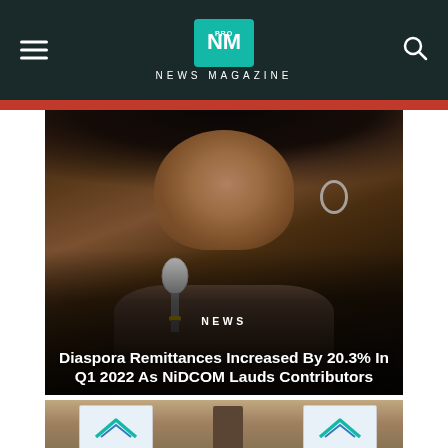NM PRO NEWS MAGAZINE
[Figure (photo): A woman speaking into a microphone at an event, wearing hoop earrings and a grey outfit]
NEWS
Diaspora Remittances Increased By 20.3% In Q1 2022 As NiDCOM Lauds Contributors
[Figure (photo): Partial view of a second photo showing people at a table with signage]